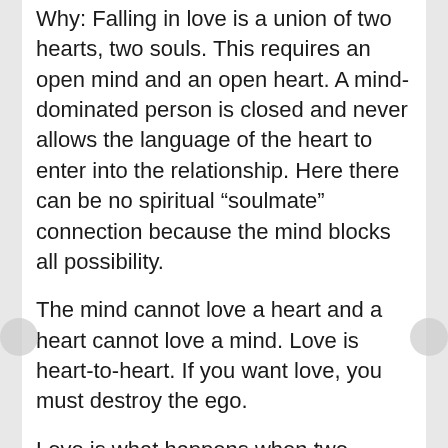Why: Falling in love is a union of two hearts, two souls. This requires an open mind and an open heart. A mind-dominated person is closed and never allows the language of the heart to enter into the relationship. Here there can be no spiritual “soulmate” connection because the mind blocks all possibility.
The mind cannot love a heart and a heart cannot love a mind. Love is heart-to-heart. If you want love, you must destroy the ego.
Love is what happens when two people live from the heart and learn to perceive each other on this level. Love is a decision of the heart, and decisions of the heart are never confused by the mind...